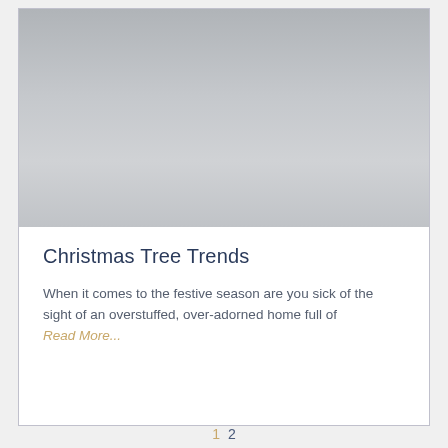[Figure (photo): Gray placeholder image area representing a photo of a Christmas tree or festive scene]
Christmas Tree Trends
When it comes to the festive season are you sick of the sight of an overstuffed, over-adorned home full of
Read More...
1  2